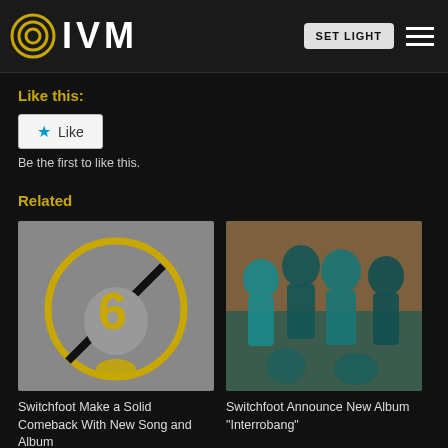IVM  SET LIGHT
Like this:
Like
Be the first to like this.
Related
[Figure (illustration): Album cover: Switchfoot - yellow circle with figure and strike-through on grey background]
Switchfoot Make a Solid Comeback With New Song and Album
[Figure (photo): Photo of Switchfoot band members with orange and teal lighting]
Switchfoot Announce New Album "Interrobang"